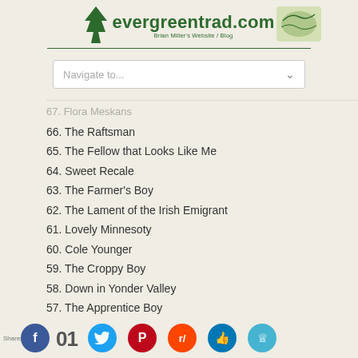evergreentrad.com — Brian Miller's Website / Blog
[Figure (screenshot): Navigate to... dropdown navigation box]
67. Flora Meskans (partial, cut off)
66. The Raftsman
65. The Fellow that Looks Like Me
64. Sweet Recale
63. The Farmer's Boy
62. The Lament of the Irish Emigrant
61. Lovely Minnesoty
60. Cole Younger
59. The Croppy Boy
58. Down in Yonder Valley
57. The Apprentice Boy
56. What a Time on the Way
Shares 01 [social share icons: Facebook, Twitter, Pinterest, Reddit, LinkedIn, Crown]